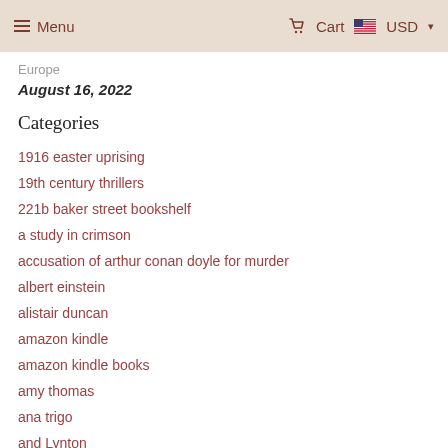Menu   Cart   USD
Europe
August 16, 2022
Categories
1916 easter uprising
19th century thrillers
221b baker street bookshelf
a study in crimson
accusation of arthur conan doyle for murder
albert einstein
alistair duncan
amazon kindle
amazon kindle books
amy thomas
ana trigo
and Lynton